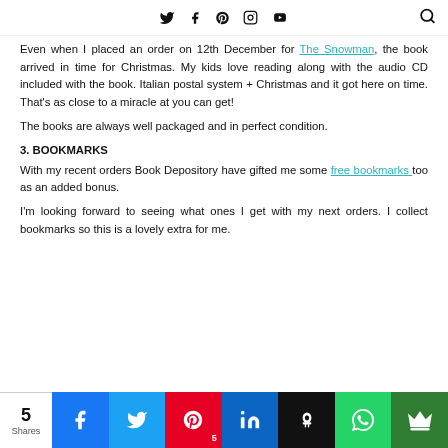Twitter Facebook Pinterest Instagram YouTube [Search]
Even when I placed an order on 12th December for The Snowman, the book arrived in time for Christmas. My kids love reading along with the audio CD included with the book. Italian postal system + Christmas and it got here on time. That's as close to a miracle at you can get!
The books are always well packaged and in perfect condition.
3. BOOKMARKS
With my recent orders Book Depository have gifted me some free bookmarks too as an added bonus.
I'm looking forward to seeing what ones I get with my next orders. I collect bookmarks so this is a lovely extra for me.
[Figure (infographic): Social sharing bar with 5 Shares count, and buttons for Facebook, Twitter, Pinterest (5), LinkedIn, Hootsuite, WhatsApp, and a crown/save button]